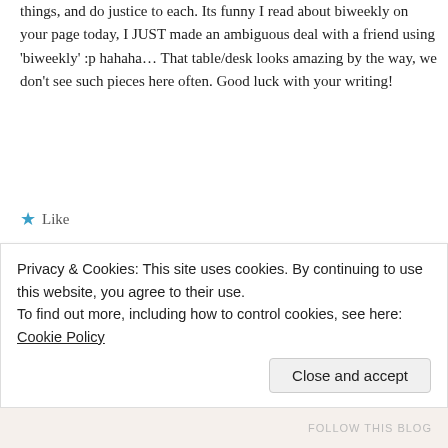things, and do justice to each. Its funny I read about biweekly on your page today, I JUST made an ambiguous deal with a friend using 'biweekly' :p hahaha… That table/desk looks amazing by the way, we don't see such pieces here often. Good luck with your writing!
★ Like
Dana | February 25, 2015 at 8:06 pm
Thanks so much Desi, any friend of Kath's is a friend of mine 🙂
Privacy & Cookies: This site uses cookies. By continuing to use this website, you agree to their use.
To find out more, including how to control cookies, see here: Cookie Policy
Close and accept